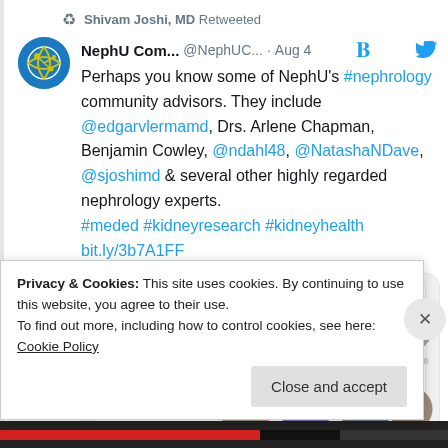Shivam Joshi, MD Retweeted
NephU Com... @NephUC... · Aug 4
Perhaps you know some of NephU's #nephrology community advisors. They include @edgarvlermamd, Drs. Arlene Chapman, Benjamin Cowley, @ndahl48, @NatashaNDave, @sjoshimd & several other highly regarded nephrology experts. #meded #kidneyresearch #kidneyhealth bit.ly/3b7A1FF
[Figure (screenshot): NephU promotional image showing collective nephrology experts with circular profile photos arranged in a grid]
Privacy & Cookies: This site uses cookies. By continuing to use this website, you agree to their use. To find out more, including how to control cookies, see here: Cookie Policy
Close and accept